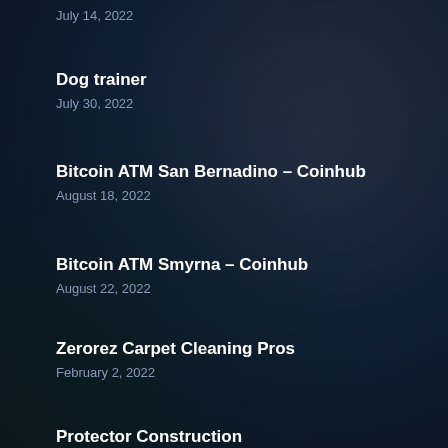July 14, 2022
Dog trainer
July 30, 2022
Bitcoin ATM San Bernadino – Coinhub
August 18, 2022
Bitcoin ATM Smyrna – Coinhub
August 22, 2022
Zerorez Carpet Cleaning Pros
February 2, 2022
Protector Construction
May 17, 2022